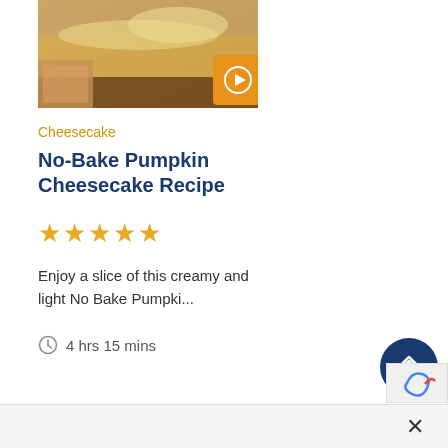[Figure (photo): A slice of pumpkin cheesecake with graham cracker crust and whipped cream topping, with a play button overlay in the bottom-right corner of the image]
Cheesecake
No-Bake Pumpkin Cheesecake Recipe
[Figure (infographic): Five gold star rating icons]
Enjoy a slice of this creamy and light No Bake Pumpki...
4 hrs 15 mins